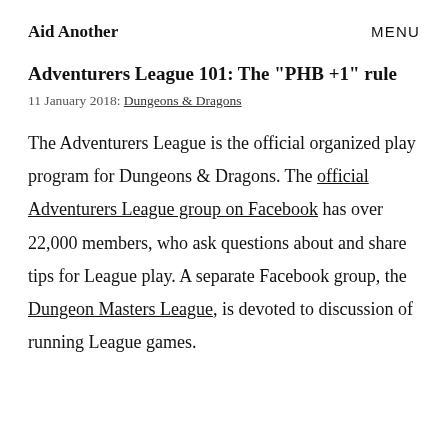Aid Another   MENU
Adventurers League 101: The "PHB +1" rule
11 January 2018: Dungeons & Dragons
The Adventurers League is the official organized play program for Dungeons & Dragons. The official Adventurers League group on Facebook has over 22,000 members, who ask questions about and share tips for League play. A separate Facebook group, the Dungeon Masters League, is devoted to discussion of running League games.